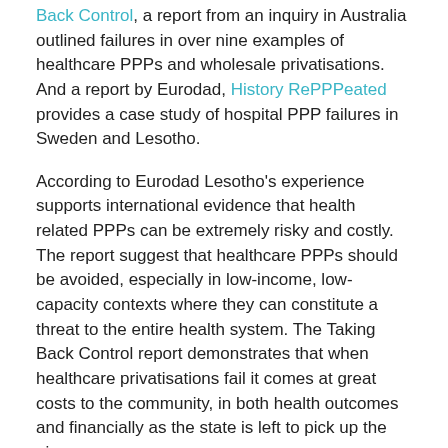Back Control, a report from an inquiry in Australia outlined failures in over nine examples of healthcare PPPs and wholesale privatisations. And a report by Eurodad, History RePPPeated provides a case study of hospital PPP failures in Sweden and Lesotho.
According to Eurodad Lesotho's experience supports international evidence that health related PPPs can be extremely risky and costly. The report suggest that healthcare PPPs should be avoided, especially in low-income, low-capacity contexts where they can constitute a threat to the entire health system. The Taking Back Control report demonstrates that when healthcare privatisations fail it comes at great costs to the community, in both health outcomes and financially as the state is left to pick up the pieces.
It's not just the usual suspects denouncing PPPs. The International Monetary Fund's own analysis demonstrates that the benefit of privatisation is usually only an "illusion" and highlight that privatisation has left the UK in a poor fiscal position (see reports in the Independent and the Guardian for further comment). The IMF has repeatedly come out and said there is not a good business case for